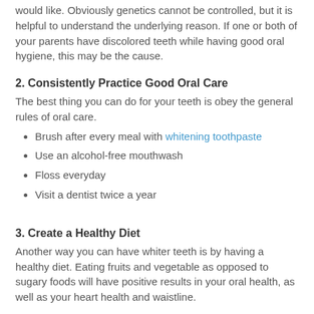would like. Obviously genetics cannot be controlled, but it is helpful to understand the underlying reason. If one or both of your parents have discolored teeth while having good oral hygiene, this may be the cause.
2. Consistently Practice Good Oral Care
The best thing you can do for your teeth is obey the general rules of oral care.
Brush after every meal with whitening toothpaste
Use an alcohol-free mouthwash
Floss everyday
Visit a dentist twice a year
3. Create a Healthy Diet
Another way you can have whiter teeth is by having a healthy diet. Eating fruits and vegetable as opposed to sugary foods will have positive results in your oral health, as well as your heart health and waistline.
Cutting back your consumption of dark liquids can also help. Just as red wine or coffee can stain a white tablecloth, dark